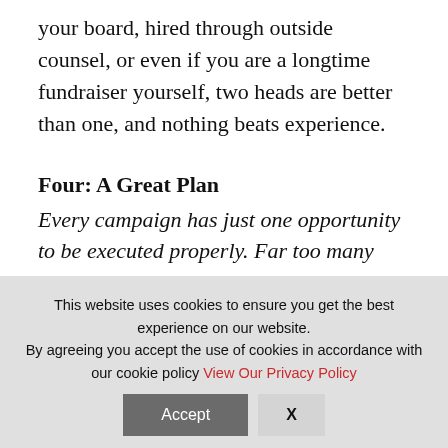your board, hired through outside counsel, or even if you are a longtime fundraiser yourself, two heads are better than one, and nothing beats experience.
Four: A Great Plan
Every campaign has just one opportunity to be executed properly. Far too many organizations rush
This website uses cookies to ensure you get the best experience on our website.
By agreeing you accept the use of cookies in accordance with our cookie policy View Our Privacy Policy
Accept
X